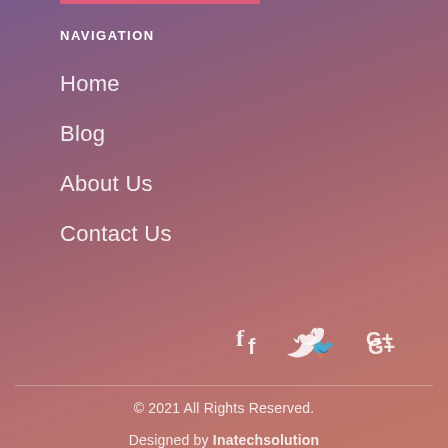NAVIGATION
Home
Blog
About Us
Contact Us
[Figure (other): Social media icons: Facebook (f), Twitter (bird), Google Plus (G+)]
© 2021 All Rights Reserved.
Designed by Inatechsolution